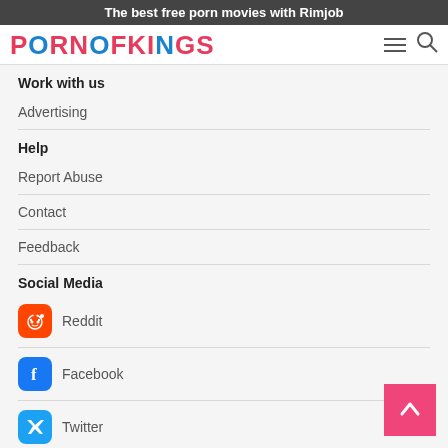The best free porn movies with Rimjob
PORNOFKINGS
Work with us
Advertising
Help
Report Abuse
Contact
Feedback
Social Media
Reddit
Facebook
Twitter